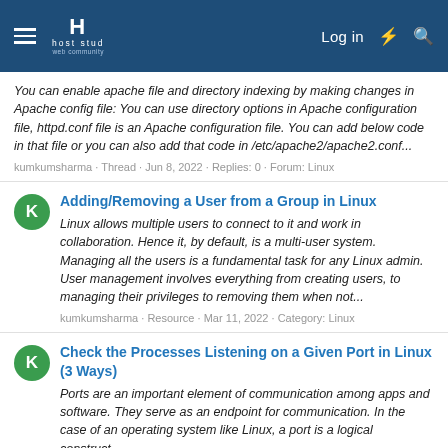host stud — Log in
You can enable apache file and directory indexing by making changes in Apache config file: You can use directory options in Apache configuration file, httpd.conf file is an Apache configuration file. You can add below code in that file or you can also add that code in /etc/apache2/apache2.conf...
kumkumsharma · Thread · Jun 8, 2022 · Replies: 0 · Forum: Linux
Adding/Removing a User from a Group in Linux
Linux allows multiple users to connect to it and work in collaboration. Hence it, by default, is a multi-user system. Managing all the users is a fundamental task for any Linux admin. User management involves everything from creating users, to managing their privileges to removing them when not...
kumkumsharma · Resource · Mar 11, 2022 · Category: Linux
Check the Processes Listening on a Given Port in Linux (3 Ways)
Ports are an important element of communication among apps and software. They serve as an endpoint for communication. In the case of an operating system like Linux, a port is a logical construct...